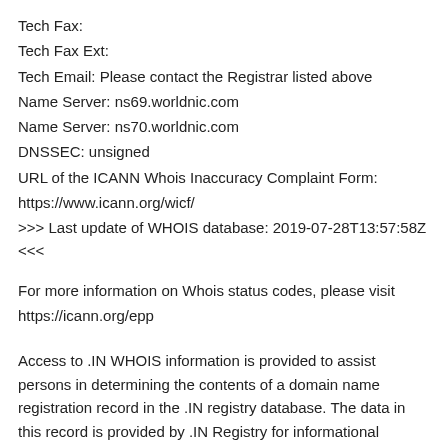Tech Fax:
Tech Fax Ext:
Tech Email: Please contact the Registrar listed above
Name Server: ns69.worldnic.com
Name Server: ns70.worldnic.com
DNSSEC: unsigned
URL of the ICANN Whois Inaccuracy Complaint Form: https://www.icann.org/wicf/
>>> Last update of WHOIS database: 2019-07-28T13:57:58Z <<<
For more information on Whois status codes, please visit https://icann.org/epp
Access to .IN WHOIS information is provided to assist persons in determining the contents of a domain name registration record in the .IN registry database. The data in this record is provided by .IN Registry for informational purposes only ,and .IN does not guarantee its accuracy. This service is intended only for query-based access. You agree that you will use this data only for lawful purposes and that, under no circumstances will you use this data to (a) allow, enable, or otherwise support the transmission in any sort or by any means of mass unsolicited,